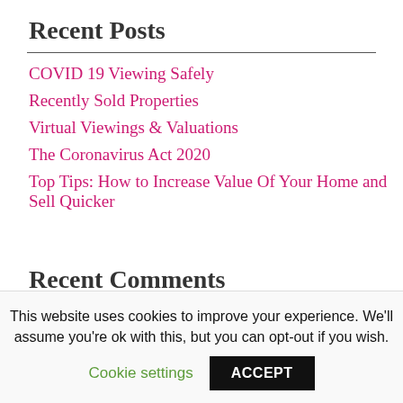Recent Posts
COVID 19 Viewing Safely
Recently Sold Properties
Virtual Viewings & Valuations
The Coronavirus Act 2020
Top Tips: How to Increase Value Of Your Home and Sell Quicker
Recent Comments
This website uses cookies to improve your experience. We'll assume you're ok with this, but you can opt-out if you wish.
Cookie settings
ACCEPT